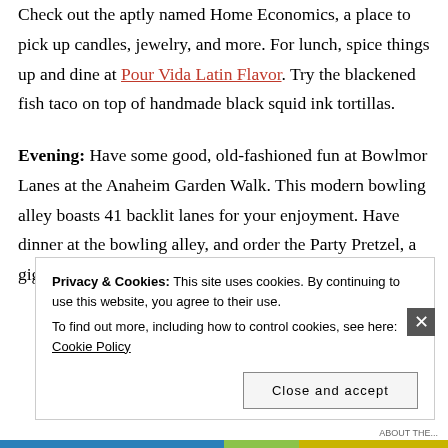Check out the aptly named Home Economics, a place to pick up candles, jewelry, and more. For lunch, spice things up and dine at Pour Vida Latin Flavor. Try the blackened fish taco on top of handmade black squid ink tortillas.
Evening: Have some good, old-fashioned fun at Bowlmor Lanes at the Anaheim Garden Walk. This modern bowling alley boasts 41 backlit lanes for your enjoyment. Have dinner at the bowling alley, and order the Party Pretzel, a gigantic soft pretzel served with mustard and
Privacy & Cookies: This site uses cookies. By continuing to use this website, you agree to their use. To find out more, including how to control cookies, see here: Cookie Policy
Close and accept